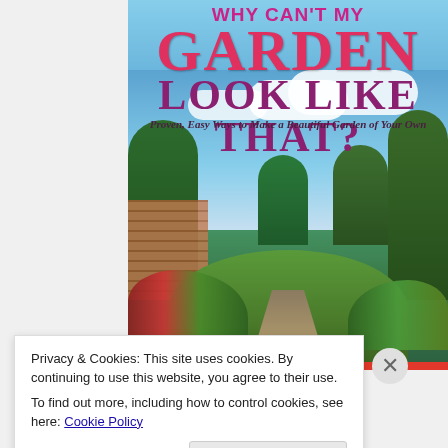[Figure (illustration): Book cover for 'Why Can't My Garden Look Like That?' showing a beautiful English garden with hedges, lawn, flowerbeds, and blue sky with clouds. The title 'GARDEN' is formed from flowers.]
Privacy & Cookies: This site uses cookies. By continuing to use this website, you agree to their use.
To find out more, including how to control cookies, see here: Cookie Policy
Close and accept